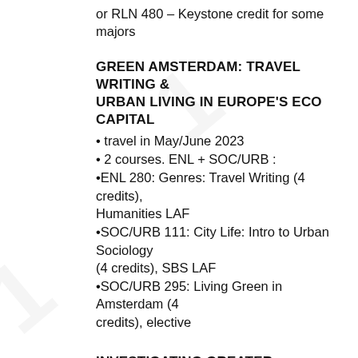or RLN 480 – Keystone credit for some majors
GREEN AMSTERDAM: TRAVEL WRITING & URBAN LIVING IN EUROPE'S ECO CAPITAL
• travel in May/June 2023
• 2 courses. ENL + SOC/URB :
•ENL 280: Genres: Travel Writing (4 credits), Humanities LAF
•SOC/URB 111: City Life: Intro to Urban Sociology (4 credits), SBS LAF
•SOC/URB 295: Living Green in Amsterdam (4 credits), elective
INVESTIGATING GREATER MINNESOTA: RESEARCH AND PERFORMANCE
•Summer 2023 Term 1, travel in Greater Minnesota (location TBD)